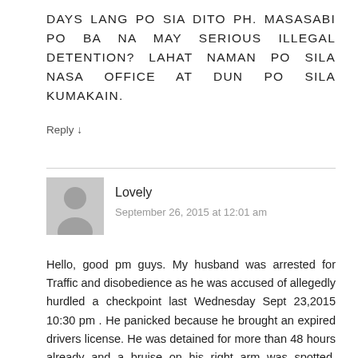DAYS LANG PO SIA DITO PH. MASASABI PO BA NA MAY SERIOUS ILLEGAL DETENTION? LAHAT NAMAN PO SILA NASA OFFICE AT DUN PO SILA KUMAKAIN.
Reply ↓
Lovely
September 26, 2015 at 12:01 am
Hello, good pm guys. My husband was arrested for Traffic and disobedience as he was accused of allegedly hurdled a checkpoint last Wednesday Sept 23,2015 10:30 pm . He panicked because he brought an expired drivers license. He was detained for more than 48 hours already and a bruise on his right arm was spotted. According to him, one of the authorities injured him during the arrest. I went to the station where he was detained for such traffic violation after 15